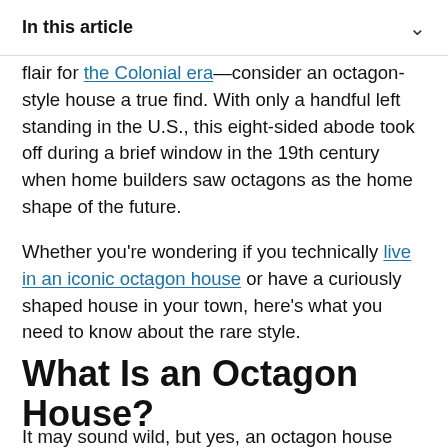In this article ∨
flair for the Colonial era—consider an octagon-style house a true find. With only a handful left standing in the U.S., this eight-sided abode took off during a brief window in the 19th century when home builders saw octagons as the home shape of the future.
Whether you're wondering if you technically live in an iconic octagon house or have a curiously shaped house in your town, here's what you need to know about the rare style.
What Is an Octagon House?
It may sound wild, but yes, an octagon house does